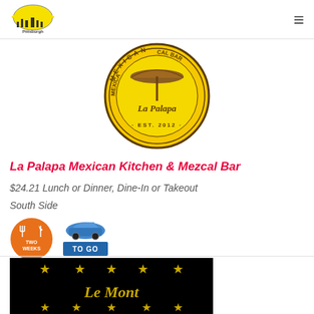Pittsburgh Restaurant Week
[Figure (logo): La Palapa Mexican Kitchen & Mezcal Bar circular logo, yellow background, EST. 2012, with umbrella illustration]
La Palapa Mexican Kitchen & Mezcal Bar
$24.21 Lunch or Dinner, Dine-In or Takeout
South Side
[Figure (logo): Two Weeks badge - orange circle with fork and knife icons and text TWO WEEKS]
[Figure (logo): To Go badge - blue car icon above blue rectangle with text TO GO]
[Figure (logo): Le Mont restaurant logo - black background with gold script text Le Mont and gold stars]